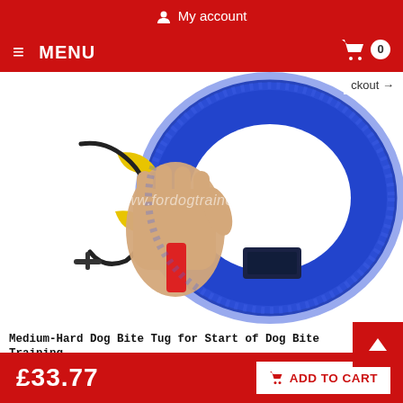My account
≡ MENU
ckout →
[Figure (photo): A hand gripping a blue medium-hard dog bite tug ring with red and yellow accents, used for dog bite training. Watermark: www.fordogtrainers.co.uk]
Medium-Hard Dog Bite Tug for Start of Dog Bite Training
Click on the photo to enlarge the image
£33.77
ADD TO CART